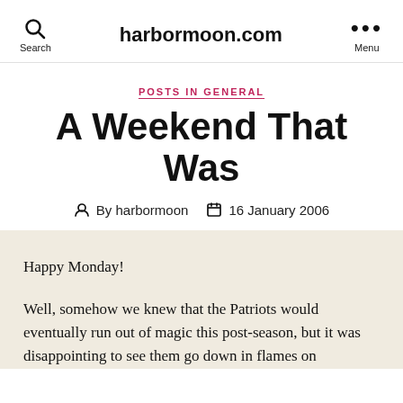Search  harbormoon.com  Menu
POSTS IN GENERAL
A Weekend That Was
By harbormoon  16 January 2006
Happy Monday!
Well, somehow we knew that the Patriots would eventually run out of magic this post-season, but it was disappointing to see them go down in flames on